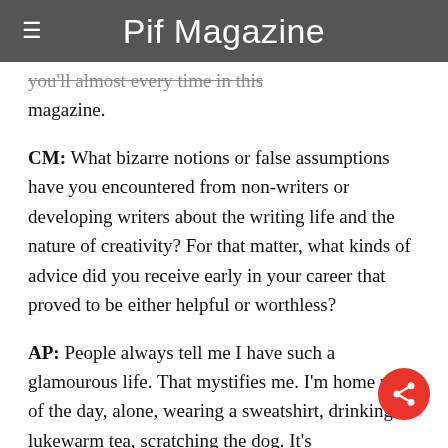Pif Magazine
you'll almost every time in this magazine.
CM: What bizarre notions or false assumptions have you encountered from non-writers or developing writers about the writing life and the nature of creativity? For that matter, what kinds of advice did you receive early in your career that proved to be either helpful or worthless?
AP: People always tell me I have such a glamourous life. That mystifies me. I'm home most of the day, alone, wearing a sweatshirt, drinking lukewarm tea, scratching the dog. It's